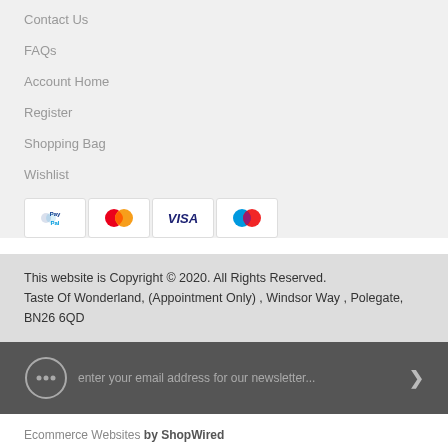Contact Us
FAQs
Account Home
Register
Shopping Bag
Wishlist
[Figure (logo): Payment method icons: PayPal, Mastercard, Visa, Maestro]
This website is Copyright © 2020. All Rights Reserved. Taste Of Wonderland, (Appointment Only) , Windsor Way , Polegate, BN26 6QD
enter your email address for our newsletter...
Ecommerce Websites by ShopWired